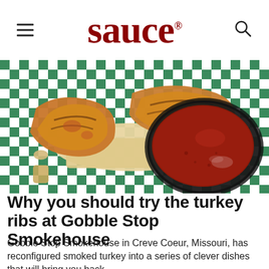sauce
[Figure (photo): Grilled turkey ribs on green and white checkered paper with a bowl of BBQ sauce]
Why you should try the turkey ribs at Gobble Stop Smokehouse
Gobble Stop Smokehouse in Creve Coeur, Missouri, has reconfigured smoked turkey into a series of clever dishes that will bring you back …